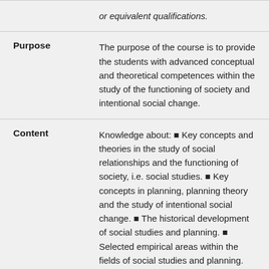or equivalent qualifications.
Purpose — The purpose of the course is to provide the students with advanced conceptual and theoretical competences within the study of the functioning of society and intentional social change.
Content — Knowledge about: ■ Key concepts and theories in the study of social relationships and the functioning of society, i.e. social studies. ■ Key concepts in planning, planning theory and the study of intentional social change. ■ The historical development of social studies and planning. ■ Selected empirical areas within the fields of social studies and planning.
Learning and — The course will be based on a